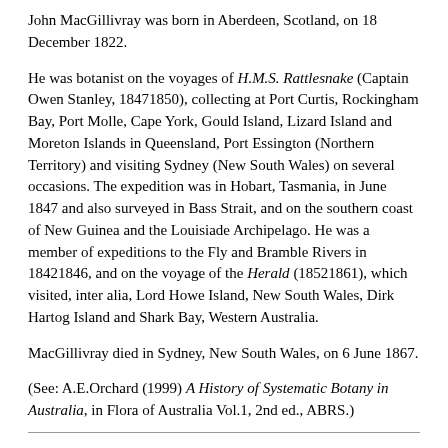John MacGillivray was born in Aberdeen, Scotland, on 18 December 1822.
He was botanist on the voyages of H.M.S. Rattlesnake (Captain Owen Stanley, 18471850), collecting at Port Curtis, Rockingham Bay, Port Molle, Cape York, Gould Island, Lizard Island and Moreton Islands in Queensland, Port Essington (Northern Territory) and visiting Sydney (New South Wales) on several occasions. The expedition was in Hobart, Tasmania, in June 1847 and also surveyed in Bass Strait, and on the southern coast of New Guinea and the Louisiade Archipelago. He was a member of expeditions to the Fly and Bramble Rivers in 18421846, and on the voyage of the Herald (18521861), which visited, inter alia, Lord Howe Island, New South Wales, Dirk Hartog Island and Shark Bay, Western Australia.
MacGillivray died in Sydney, New South Wales, on 6 June 1867.
(See: A.E.Orchard (1999) A History of Systematic Botany in Australia, in Flora of Australia Vol.1, 2nd ed., ABRS.)